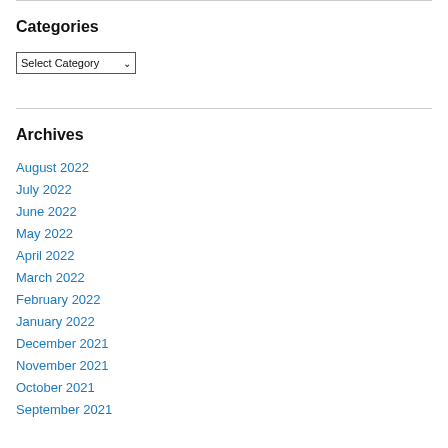Categories
Select Category
Archives
August 2022
July 2022
June 2022
May 2022
April 2022
March 2022
February 2022
January 2022
December 2021
November 2021
October 2021
September 2021